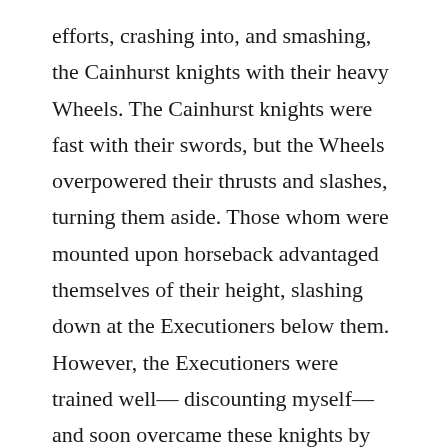efforts, crashing into, and smashing, the Cainhurst knights with their heavy Wheels. The Cainhurst knights were fast with their swords, but the Wheels overpowered their thrusts and slashes, turning them aside. Those whom were mounted upon horseback advantaged themselves of their height, slashing down at the Executioners below them. However, the Executioners were trained well— discounting myself— and soon overcame these knights by forming a phalanx with their wheels. Like a carapace of spokes and rims and hubs, they moved together, protecting each other while Executioners beneath them used their swords to cut the horses to stumps, thus throwing the knights for efficient dispatch. My brethren were coordinated and calm, even while surrounded in ambush. I had neither